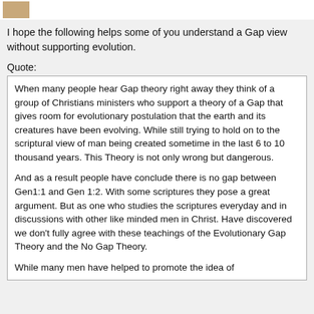[Figure (photo): Small avatar/profile photo thumbnail in top bar]
I hope the following helps some of you understand a Gap view without supporting evolution.
Quote:
When many people hear Gap theory right away they think of a group of Christians ministers who support a theory of a Gap that gives room for evolutionary postulation that the earth and its creatures have been evolving. While still trying to hold on to the scriptural view of man being created sometime in the last 6 to 10 thousand years. This Theory is not only wrong but dangerous.

And as a result people have conclude there is no gap between Gen1:1 and Gen 1:2. With some scriptures they pose a great argument. But as one who studies the scriptures everyday and in discussions with other like minded men in Christ. Have discovered we don’t fully agree with these teachings of the Evolutionary Gap Theory and the No Gap Theory.

While many men have helped to promote the idea of